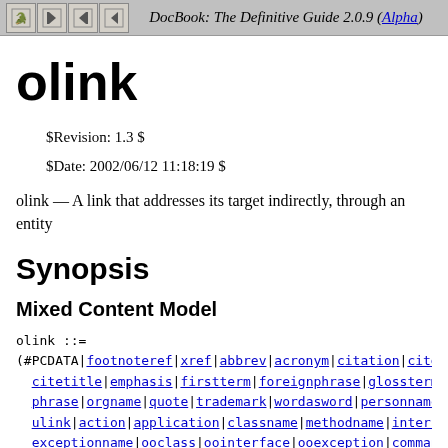DocBook: The Definitive Guide 2.0.9 (Alpha)
olink
$Revision: 1.3 $
$Date: 2002/06/12 11:18:19 $
olink — A link that addresses its target indirectly, through an entity
Synopsis
Mixed Content Model
olink ::=
(#PCDATA|footnoteref|xref|abbrev|acronym|citation|citere citetitle|emphasis|firstterm|foreignphrase|glossterm|fo phrase|orgname|quote|trademark|wordasword|personname|li ulink|action|application|classname|methodname|interface exceptionname|ooclass|oointerface|ooexception|command| computeroutput|database|email|envar|errorcode|errorname